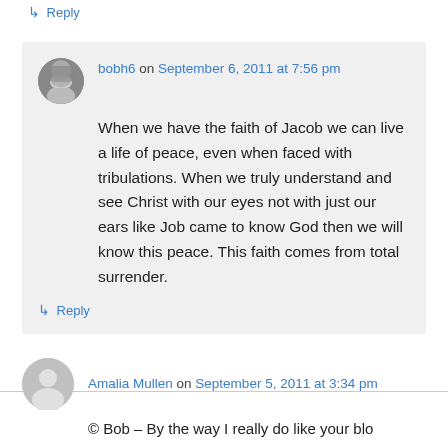↳ Reply
bobh6 on September 6, 2011 at 7:56 pm
When we have the faith of Jacob we can live a life of peace, even when faced with tribulations. When we truly understand and see Christ with our eyes not with just our ears like Job came to know God then we will know this peace. This faith comes from total surrender.
↳ Reply
Amalia Mullen on September 5, 2011 at 3:34 pm
© Bob – By the way I really do like your blo